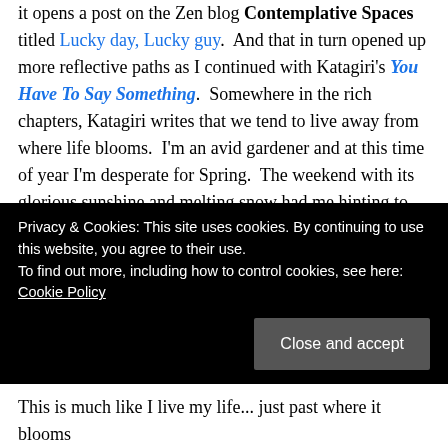it opens a post on the Zen blog Contemplative Spaces titled Lucky day, Lucky guy.  And that in turn opened up more reflective paths as I continued with Katagiri's You Have To Say Something.  Somewhere in the rich chapters, Katagiri writes that we tend to live away from where life blooms.  I'm an avid gardener and at this time of year I'm desperate for Spring.  The weekend with its glorious sunshine and melting snow had me hinting to Frank that maybe the vegetable boxes are ready for weeding.  There's only 8 inches of snow in them, how hardpacked can it be!  Bows to his sweet heart, he actually went out to try and weed them.  Apparently, as
Privacy & Cookies: This site uses cookies. By continuing to use this website, you agree to their use. To find out more, including how to control cookies, see here: Cookie Policy
This is much like I live my life... just past where it blooms